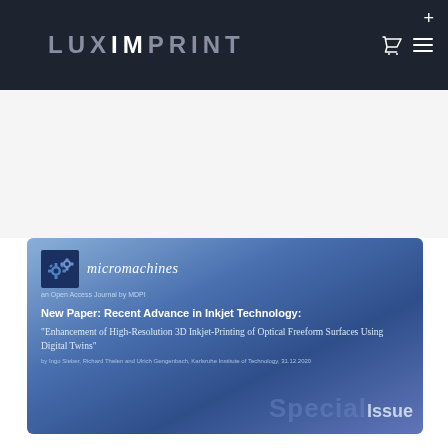LUXIMPRINT
[Figure (screenshot): Micromachines journal article card with blue gradient background showing: journal logo with gear icons, journal name 'micromachines', 'an Open Access Journal by MDPI', paper title 'New Paper: Recent Advance in Inkjet Technology:', subtitle 'Enhancement of High-Resolution 3D Inkjet-Printing of Optical Freeform Surfaces Using Digital Twins', author line 'by Ingo Sieber, Richard Thelen and Ulrich Gengenbach, Karlsruhe Institute of Technology, 31.12.2020', and 'Special Issue' text in bottom right]